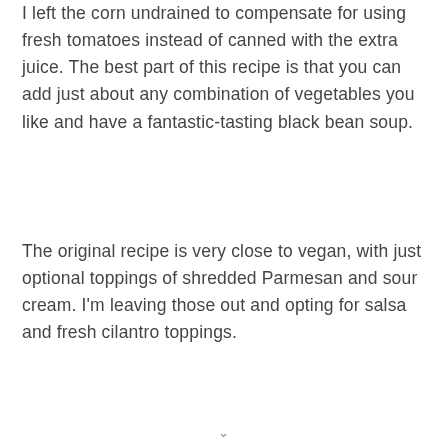I left the corn undrained to compensate for using fresh tomatoes instead of canned with the extra juice. The best part of this recipe is that you can add just about any combination of vegetables you like and have a fantastic-tasting black bean soup.
The original recipe is very close to vegan, with just optional toppings of shredded Parmesan and sour cream. I'm leaving those out and opting for salsa and fresh cilantro toppings.